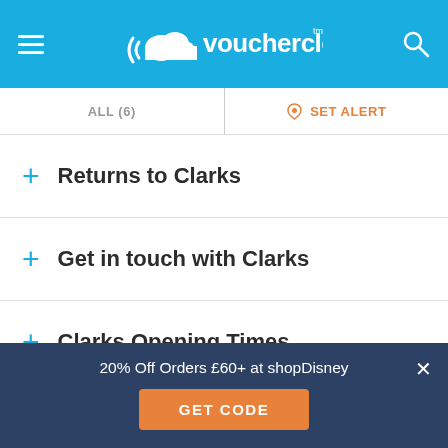vouchercloud
ALL (6) | SET ALERT
+ Returns to Clarks
+ Get in touch with Clarks
+ Clarks Opening Times
+ Getting Social with Clarks
20% Off Orders £60+ at shopDisney
GET CODE